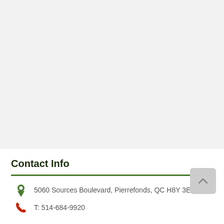Contact Info
5060 Sources Boulevard, Pierrefonds, QC H8Y 3E4
T: 514-684-9920